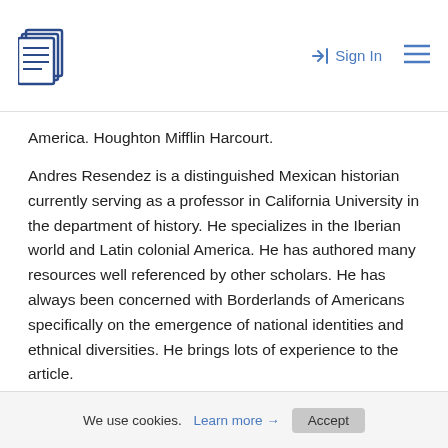Sign In
America. Houghton Mifflin Harcourt.
Andres Resendez is a distinguished Mexican historian currently serving as a professor in California University in the department of history. He specializes in the Iberian world and Latin colonial America. He has authored many resources well referenced by other scholars. He has always been concerned with Borderlands of Americans specifically on the emergence of national identities and ethnical diversities. He brings lots of experience to the article.
The article follows extinction of small sub
We use cookies. Learn more → Accept